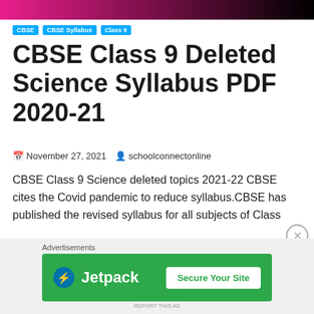[Figure (other): Pink to black gradient banner at top of page]
CBSE | CBSE Syllabus | Class 9
CBSE Class 9 Deleted Science Syllabus PDF 2020-21
November 27, 2021   schoolconnectonline
CBSE Class 9 Science deleted topics 2021-22 CBSE cites the Covid pandemic to reduce syllabus.CBSE has published the revised syllabus for all subjects of Class
Share this:
WhatsApp   Email
[Figure (other): Jetpack advertisement banner: green background with Jetpack logo on left and 'Secure Your Site' button on right]